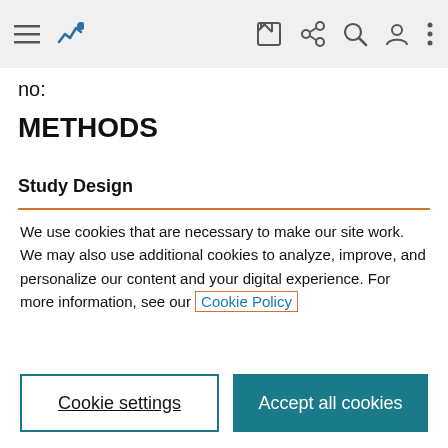[Figure (screenshot): Top navigation bar with hamburger menu icon, blue chart/analytics icon, edit icon, share/network icon, search icon, user/profile icon, and vertical ellipsis menu icon on a light grey background.]
no:
METHODS
Study Design
We use cookies that are necessary to make our site work. We may also use additional cookies to analyze, improve, and personalize our content and your digital experience. For more information, see our Cookie Policy
Cookie settings
Accept all cookies